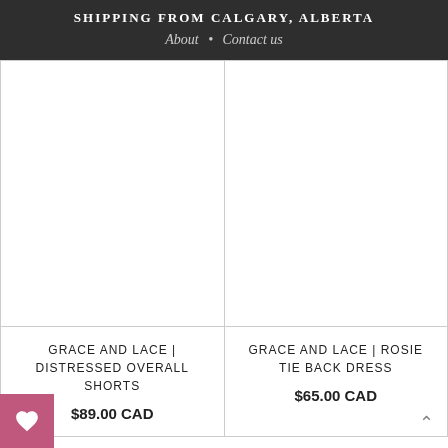SHIPPING FROM CALGARY, ALBERTA
About • Contact us
[Figure (photo): Product image placeholder for Grace and Lace Distressed Overall Shorts]
GRACE AND LACE | DISTRESSED OVERALL SHORTS
$89.00 CAD
[Figure (photo): Product image placeholder for Grace and Lace Rosie Tie Back Dress]
GRACE AND LACE | ROSIE TIE BACK DRESS
$65.00 CAD